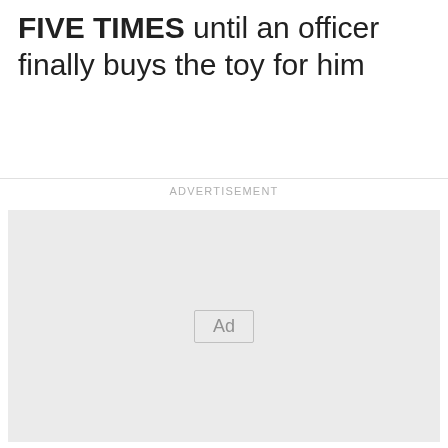FIVE TIMES until an officer finally buys the toy for him
[Figure (other): Advertisement placeholder box with 'Ad' button centered in a light gray rectangle, labeled 'ADVERTISEMENT' above with a thin horizontal rule]